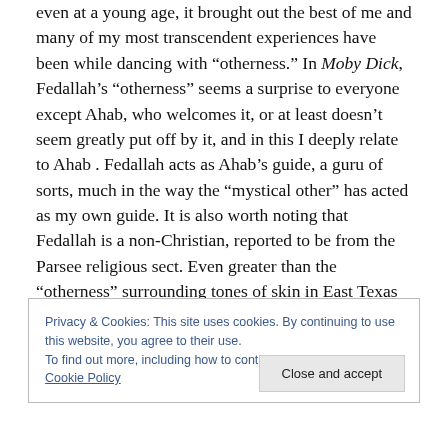even at a young age, it brought out the best of me and many of my most transcendent experiences have been while dancing with “otherness.” In Moby Dick, Fedallah’s “otherness” seems a surprise to everyone except Ahab, who welcomes it, or at least doesn’t seem greatly put off by it, and in this I deeply relate to Ahab . Fedallah acts as Ahab’s guide, a guru of sorts, much in the way the “mystical other” has acted as my own guide. It is also worth noting that Fedallah is a non-Christian, reported to be from the Parsee religious sect. Even greater than the “otherness” surrounding tones of skin in East Texas was
Privacy & Cookies: This site uses cookies. By continuing to use this website, you agree to their use.
To find out more, including how to control cookies, see here: Cookie Policy